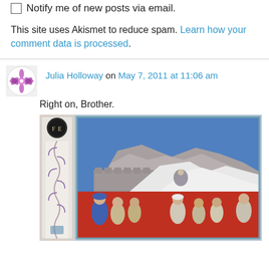Notify me of new posts via email.
This site uses Akismet to reduce spam. Learn how your comment data is processed.
Julia Holloway on May 7, 2011 at 11:06 am
Right on, Brother.
[Figure (illustration): Medieval illuminated manuscript page showing figures against rocky background, with decorative border on left side containing 'F E' text, and lower portion showing robed figures against red background.]